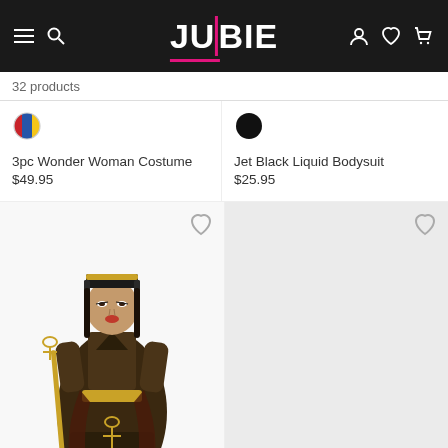JULBIE — navigation header with hamburger menu, search, logo, account, wishlist, cart icons
32 products
[Figure (other): Color swatch for 3pc Wonder Woman Costume — tricolor circle (red, blue, yellow)]
3pc Wonder Woman Costume
$49.95
[Figure (other): Color swatch for Jet Black Liquid Bodysuit — solid black circle]
Jet Black Liquid Bodysuit
$25.95
[Figure (photo): Product photo of a Cleopatra costume — woman in Egyptian-themed dark brown and gold costume with headdress and ankh staff]
[Figure (other): Empty product image placeholder — light gray background with heart wishlist icon]